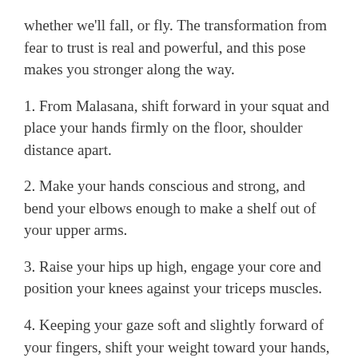whether we'll fall, or fly. The transformation from fear to trust is real and powerful, and this pose makes you stronger along the way.
1. From Malasana, shift forward in your squat and place your hands firmly on the floor, shoulder distance apart.
2. Make your hands conscious and strong, and bend your elbows enough to make a shelf out of your upper arms.
3. Raise your hips up high, engage your core and position your knees against your triceps muscles.
4. Keeping your gaze soft and slightly forward of your fingers, shift your weight toward your hands, lifting your feet off the ground. If you can only lift one foot, do that; experiment until you find success.
5. Hold for as long as you can, breathing freely and